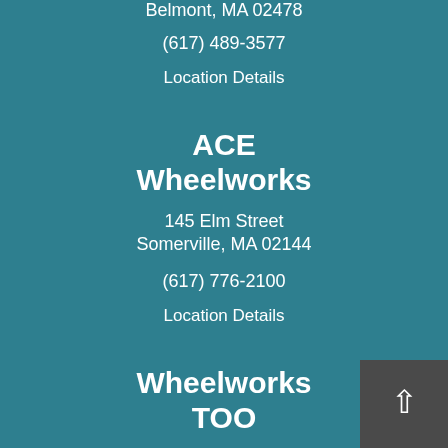Belmont, MA 02478
(617) 489-3577
Location Details
ACE Wheelworks
145 Elm Street
Somerville, MA 02144
(617) 776-2100
Location Details
Wheelworks TOO
22 Church St
Belmont, MA 02478
(617) 489-3847